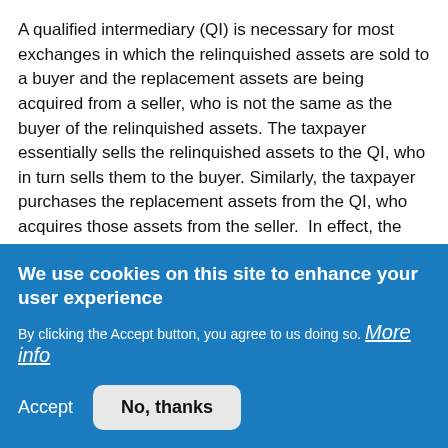A qualified intermediary (QI) is necessary for most exchanges in which the relinquished assets are sold to a buyer and the replacement assets are being acquired from a seller, who is not the same as the buyer of the relinquished assets. The taxpayer essentially sells the relinquished assets to the QI, who in turn sells them to the buyer. Similarly, the taxpayer purchases the replacement assets from the QI, who acquires those assets from the seller.  In effect, the taxpayer completes an exchange with the QI.
The regulations are purposely liberal on the mechanics of transferring the relinquished and replacement assets to and from the QI.  The standard practice is for the taxpayer to
We use cookies on this site to enhance your user experience
By clicking the Accept button, you agree to us doing so. More info
Accept
No, thanks